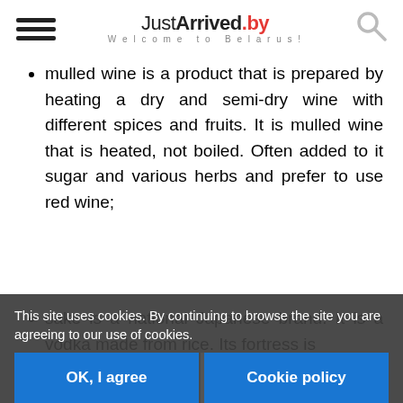JustArrived.by — Welcome to Belarus!
mulled wine is a product that is prepared by heating a dry and semi-dry wine with different spices and fruits. It is mulled wine that is heated, not boiled. Often added to it sugar and various herbs and prefer to use red wine;
sake is a national Japanese brand. It is a vodka made from rice. Its fortress is ...
This site uses cookies. By continuing to browse the site you are agreeing to our use of cookies.
OK, I agree | Cookie policy